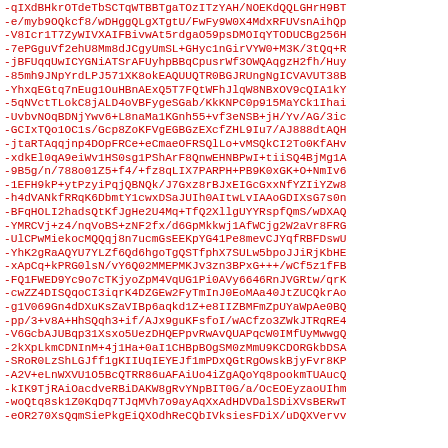-qIXdBHkrOTdeTbSCTqWTBBTgaTOzITzYAH/NOEKdQQLGHrH9BT
-e/myb9OQkcf8/wDHggQLgXTgtU/FwFy9W0X4MdxRFUVsnAihQp
-V8Icr1T7ZyWIVXAIFBivwAt5rdgaO59psDMOIqYTODUCBg256H
-7ePGguVf2ehU8Mm8dJCgyUmSL+GHyc1nGirVYW0+M3K/3tQq+R
-jBFUqqUwICYGNiATSrAFUyhpBBqCpusrWf3OWQAqgzH2fh/Huy
-85mh9JNpYrdLPJ571XK8okEAQUUQTR0BGJRUngNgICVAVUT38B
-YhxqEGtq7nEug1OuHBnAExQ5T7FQtWFhJlqW8NBxOV9cQIA1kY
-5qNVctTLokC8jALD4oVBFygeSGab/KkKNPC0p915MaYCk1Ihai
-UvbvNOqBDNjYwv6+L8naMa1KGnh55+vf3eNSB+jH/Yv/AG/3ic
-GCIxTQo1OC1s/Gcp8ZoKFVgEGBGzEXcfZHL9Iu7/AJ888dtAQH
-jtaRTAqqjnp4DOpFRCe+eCmaeOFRSQlLo+vMSQkCI2To0KfAHv
-xdkEl0qA9eiWv1HS0sg1PShArF8QnwEHNBPwI+tiiSQ4BjMg1A
-9B5g/n/788o01Z5+f4/+fz8qLIX7PARPH+PB9K0xGK+O+NmIv6
-1EFH9kP+ytPzyiPqjQBNQk/J7Gxz8rBJxEIGcGxxNfYZIiYZw8
-h4dVANkfRRqK6DbmtY1cwxDSaJUIh0AItwLvIAAoGDIXsG7s0n
-BFqHOLI2hadsQtKfJgHe2U4Mq+TfQ2XllgUYYRspfQmS/wDXAQ
-YMRCVj+z4/nqVoBS+zNF2fx/d6GpMkkwj1AfWCjg2W2aVr8FRG
-UlCPwMiekocMQQqj8n7ucmGsEEKpYG41Pe8mevCJYqfRBFDswU
-YhK2gRaAQYU7YLZf6Qd6hgoTgQSTfphX7SULw5bpoJJiRjKbHE
-xApCq+kPRG0lsN/vY6Q02MMEPMKJv3zn3BPxG+++/wCf5z1fFB
-FQ1FWED9Yc9o7cTKjyoZpM4VqUG1Pi0AVy6646RnJVGRtw/qrK
-cwZZ4DISQqoCI3iqrK4DZGEw2FyTmInJ0EoMAa40JtZUCQkrAo
-g1V069Gn4dDXuKsZaVIBp6aqkd1Z+e8IIZBMFmZpUYaWpAe0BQ
-pp/3+v8A+HhSQqh3+if/AJx9guKFsfoI/wACfzo3ZWkJTRqRE4
-V6GcbAJUBqp31Xsxo5UezDHQEPpvRwAvQUAPqcW0IMfUyMwwgQ
-2kXpLkmCDNInM+4j1Ha+0aI1CHBpBOgSM0zMmU9KCDORGkbDSA
-SRoR0LzShLGJff1gKIIUqIEYEJf1mPDxQGtRgOwskBjyFvr8KP
-A2V+eLnWXVU1O5BcQTRR86uAFAiUo4iZgAQoYq8pookmTUAucQ
-kIK9TjRAiOacdveRBiDAKW8gRvYNpBIT0G/a/OcEOEyzaoUIhm
-woQtq8sk1Z0KqDq7TJqMVh7o9ayAqXxAdHDVDalSDiXVsBERwT
-eOR270XsQqmSiePkgEiQXOdhReCQbIVksiesFDiX/uDQXVervv